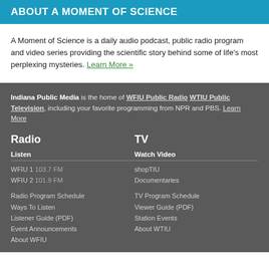ABOUT A MOMENT OF SCIENCE
A Moment of Science is a daily audio podcast, public radio program and video series providing the scientific story behind some of life's most perplexing mysteries. Learn More »
Indiana Public Media is the home of WFIU Public Radio WTIU Public Television, including your favorite programming from NPR and PBS. Learn More
Radio
TV
Listen
Watch Video
WFIU 1 103.7 FM
shopTIU
WFIU 2 101.9 FM
Documentaries
Radio Program Schedule
TV Program Schedule
Ways To Listen
Viewer Guide (PDF)
Listener Guide (PDF)
Station Events
Event Announcements
About WTIU
About WFIU